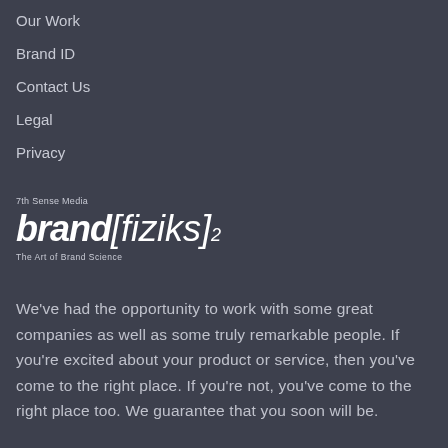Our Work
Brand ID
Contact Us
Legal
Privacy
[Figure (logo): 7th Sense Media brandfiziks² logo with tagline 'The Art of Brand Science']
We've had the opportunity to work with some great companies as well as some truly remarkable people. If you're excited about your product or service, then you've come to the right place. If you're not, you've come to the right place too. We guarantee that you soon will be.